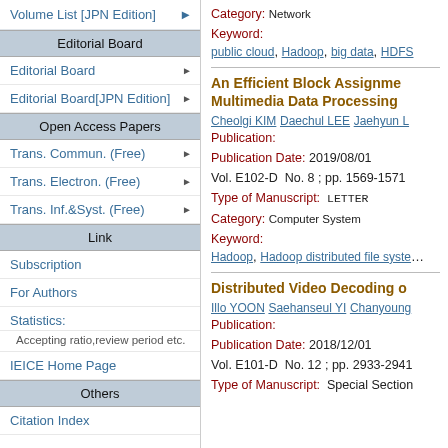Volume List [JPN Edition]
Editorial Board
Editorial Board
Editorial Board[JPN Edition]
Open Access Papers
Trans. Commun. (Free)
Trans. Electron. (Free)
Trans. Inf.&Syst. (Free)
Link
Subscription
For Authors
Statistics:
Accepting ratio,review period etc.
IEICE Home Page
Others
Citation Index
Category: Network
Keyword:
public cloud, Hadoop, big data, HDFS
An Efficient Block Assignment for Multimedia Data Processing
Cheolgi KIM  Daechul LEE  Jaehyun L
Publication:
Publication Date: 2019/08/01
Vol. E102-D  No. 8 ; pp. 1569-1571
Type of Manuscript:  LETTER
Category: Computer System
Keyword:
Hadoop, Hadoop distributed file system
Distributed Video Decoding o
Illo YOON  Saehanseul YI  Chanyoung
Publication:
Publication Date: 2018/12/01
Vol. E101-D  No. 12 ; pp. 2933-2941
Type of Manuscript:  Special Section